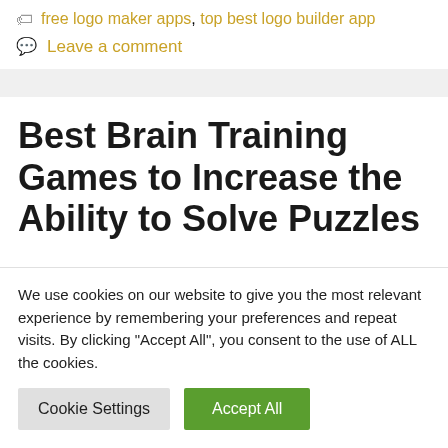free logo maker apps, top best logo builder app
Leave a comment
Best Brain Training Games to Increase the Ability to Solve Puzzles
We use cookies on our website to give you the most relevant experience by remembering your preferences and repeat visits. By clicking “Accept All”, you consent to the use of ALL the cookies.